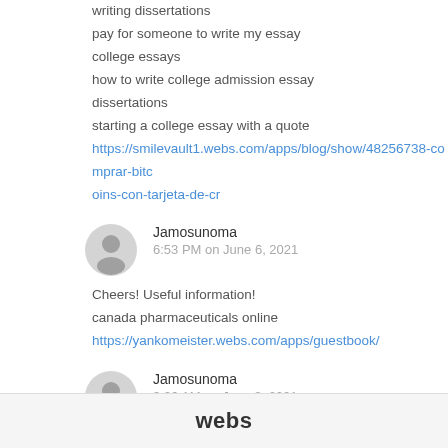writing dissertations
pay for someone to write my essay
college essays
how to write college admission essay
dissertations
starting a college essay with a quote
https://smilevault1.webs.com/apps/blog/show/48256738-comprar-bitcoins-con-tarjeta-de-cr
Jamosunoma
6:53 PM on June 6, 2021
Cheers! Useful information!
canada pharmaceuticals online
https://yankomeister.webs.com/apps/guestbook/
Jamosunoma
3:26 AM on June 8, 2021
webs